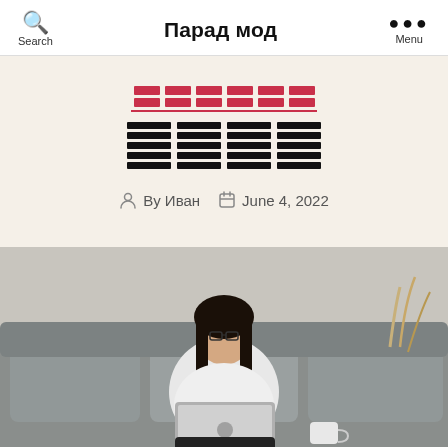Search  Парад мод  Menu
[Figure (illustration): Decorative placeholder: red striped bars on top, black striped text placeholder blocks below, on a cream background]
By Иван   June 4, 2022
[Figure (photo): Woman with glasses and long dark hair sitting on a grey sofa, working on a MacBook laptop, wearing a white shirt and black pants. A coffee mug and dried plants are visible in the background.]